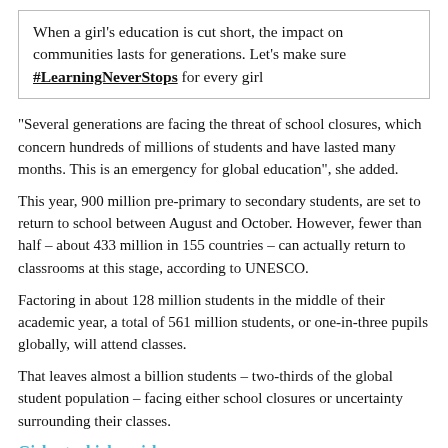When a girl's education is cut short, the impact on communities lasts for generations. Let's make sure #LearningNeverStops for every girl
“Several generations are facing the threat of school closures, which concern hundreds of millions of students and have lasted many months. This is an emergency for global education”, she added.
This year, 900 million pre-primary to secondary students, are set to return to school between August and October. However, fewer than half – about 433 million in 155 countries – can actually return to classrooms at this stage, according to UNESCO.
Factoring in about 128 million students in the middle of their academic year, a total of 561 million students, or one-in-three pupils globally, will attend classes.
That leaves almost a billion students – two-thirds of the global student population – facing either school closures or uncertainty surrounding their classes.
Girls at a higher risk